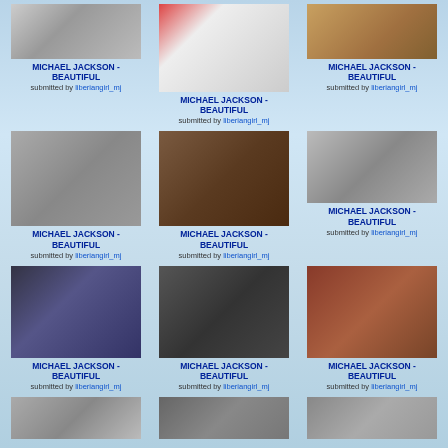[Figure (photo): Black and white photo, partial at top]
MICHAEL JACKSON - BEAUTIFUL
submitted by liberiangirl_mj
[Figure (photo): Photo of person in red striped shirt]
MICHAEL JACKSON - BEAUTIFUL
submitted by liberiangirl_mj
[Figure (photo): Close-up photo]
MICHAEL JACKSON - BEAUTIFUL
submitted by liberiangirl_mj
[Figure (photo): Group black and white photo]
MICHAEL JACKSON - BEAUTIFUL
submitted by liberiangirl_mj
[Figure (photo): Photo with sunglasses, sepia tone]
MICHAEL JACKSON - BEAUTIFUL
submitted by liberiangirl_mj
[Figure (photo): Black and white photo of two people]
MICHAEL JACKSON - BEAUTIFUL
submitted by liberiangirl_mj
[Figure (photo): Color photo outdoor]
MICHAEL JACKSON - BEAUTIFUL
submitted by liberiangirl_mj
[Figure (photo): Photo of group of people]
MICHAEL JACKSON - BEAUTIFUL
submitted by liberiangirl_mj
[Figure (photo): Color photo with two people]
MICHAEL JACKSON - BEAUTIFUL
submitted by liberiangirl_mj
[Figure (photo): Partial photo at bottom row]
[Figure (photo): Partial photo at bottom row]
[Figure (photo): Partial photo at bottom row]